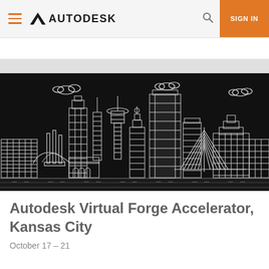AUTODESK  SIGN IN
[Figure (illustration): Kansas City skyline line art illustration on black background showing city buildings and an iconic cable-stayed bridge, rendered in white outline style]
Autodesk Virtual Forge Accelerator, Kansas City
October 17 – 21